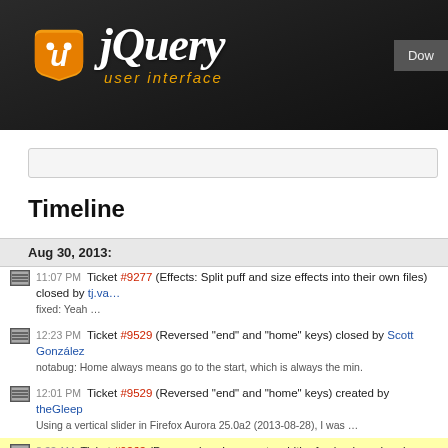[Figure (logo): jQuery UI logo with orange shield icon and white italic jQuery text, orange 'user interface' subtitle on dark background]
Timeline
Aug 30, 2013:
11:07 PM Ticket #9277 (Effects: Split puff and size effects into their own files) closed by tj.vantoll
fixed: Yeah …
12:23 PM Ticket #9529 (Reversed "end" and "home" keys) closed by Scott González
notabug: Home always means go to the start, which is always the min.
12:01 PM Ticket #9529 (Reversed "end" and "home" keys) created by theGleep
Using a vertical slider in Firefox Aurora 25.0a2 (2013-08-28), I was …
8:33 AM Ticket #9262 (Progressbar: Inaccurate width of value bar when box-sizing:border-b…
notabug: Ah, it was the DOM ready change in your fiddle that made it work. Note …